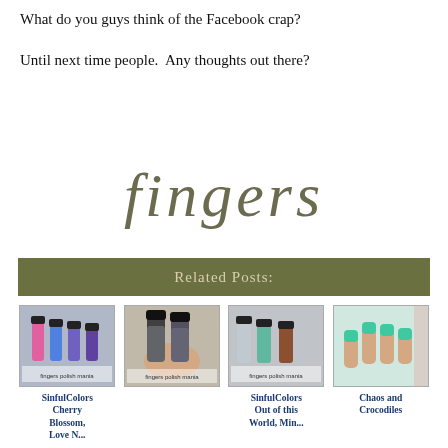What do you guys think of the Facebook crap?
Until next time people.  Any thoughts out there?
[Figure (logo): Stylized text logo reading 'fingers' in an elegant serif/script font, olive/dark gray color]
Related Posts:
[Figure (photo): Thumbnail of nail polish bottles - pink, blue, purple colors]
SinfulColors Cherry Blossom, Love N...
[Figure (photo): Thumbnail of two dark glittery nail polish bottles held in hand]
[Figure (photo): Thumbnail of three nail polish bottles - silver, teal, bronze]
SinfulColors Out of this World, Min...
[Figure (photo): Thumbnail of hand with teal/green painted nails]
Chaos and Crocodiles